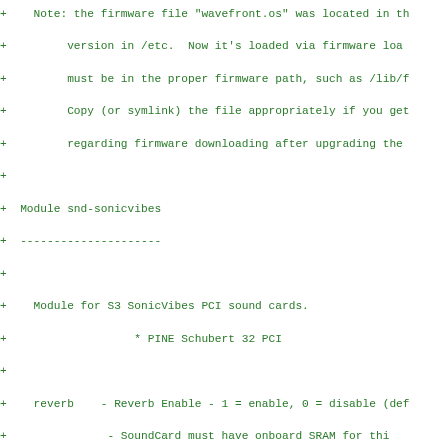+    Note: the firmware file "wavefront.os" was located in th
+         version in /etc.  Now it's loaded via firmware loa
+         must be in the proper firmware path, such as /lib/f
+         Copy (or symlink) the file appropriately if you get
+         regarding firmware downloading after upgrading the
+
+ Module snd-sonicvibes
+ ---------------------
+
+    Module for S3 SonicVibes PCI sound cards.
+                   * PINE Schubert 32 PCI
+
+    reverb    - Reverb Enable - 1 = enable, 0 = disable (def
+               - SoundCard must have onboard SRAM for thi
+    mge       - Mic Gain Enable - 1 = enable, 0 = disable (d
+
+    This module supports multiple cards and autoprobe.
+
+ Module snd-serial-u16550
+ ------------------------
+
+    Module for UART16550A serial MIDI ports.
+
+    port      - port # for UART16550A chip
+    irq       - IRQ # for UART16550A chip, -1 = no